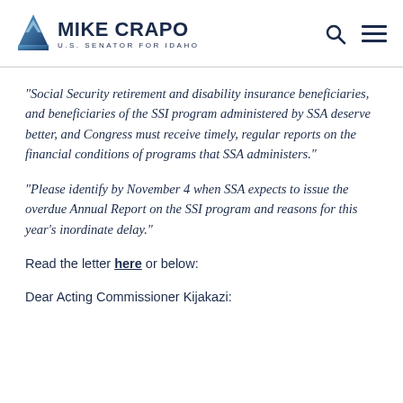MIKE CRAPO — U.S. SENATOR FOR IDAHO
“Social Security retirement and disability insurance beneficiaries, and beneficiaries of the SSI program administered by SSA deserve better, and Congress must receive timely, regular reports on the financial conditions of programs that SSA administers.”
“Please identify by November 4 when SSA expects to issue the overdue Annual Report on the SSI program and reasons for this year’s inordinate delay.”
Read the letter here or below:
Dear Acting Commissioner Kijakazi: